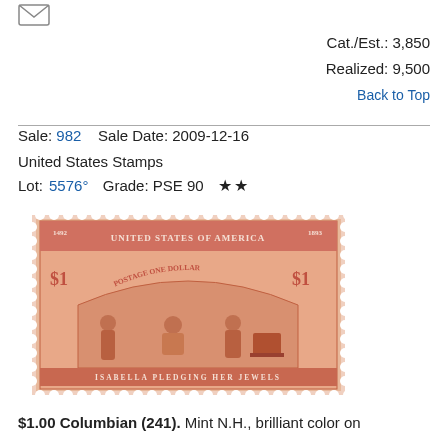Cat./Est.: 3,850
Realized: 9,500
Back to Top
Sale: 982    Sale Date: 2009-12-16
United States Stamps
Lot: 5576°   Grade: PSE 90   ★★
[Figure (photo): A $1.00 Columbian stamp (1893) showing Isabella Pledging Her Jewels scene, salmon/red color with perforated edges. Text reads: 1492 UNITED STATES OF AMERICA 1893, $1 POSTAGE ONE DOLLAR $1, ISABELLA PLEDGING HER JEWELS.]
$1.00 Columbian (241). Mint N.H., brilliant color on